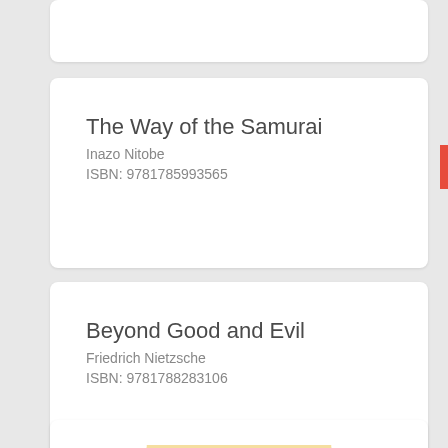The Way of the Samurai
Inazo Nitobe
ISBN: 9781785993565
Beyond Good and Evil
Friedrich Nietzsche
ISBN: 9781788283106